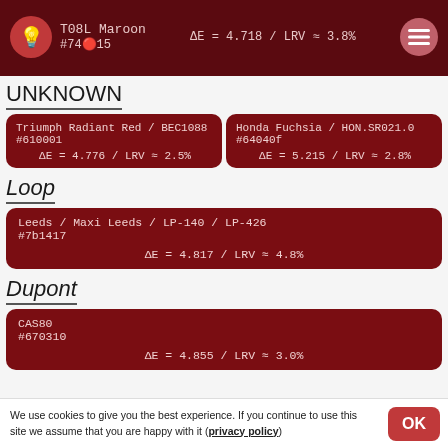T08L Maroon
#74...15
ΔE = 4.718 / LRV ≈ 3.8%
UNKNOWN
Triumph Radiant Red / BEC1088
#610001
ΔE = 4.776 / LRV ≈ 2.5%
Honda Fuchsia / HON.SR021.0
#64040f
ΔE = 5.215 / LRV ≈ 2.8%
Loop
Leeds / Maxi Leeds / LP-140 / LP-426
#7b1417
ΔE = 4.817 / LRV ≈ 4.8%
Dupont
CAS80
#670310
ΔE = 4.855 / LRV ≈ 3.0%
We use cookies to give you the best experience. If you continue to use this site we assume that you are happy with it (privacy policy)